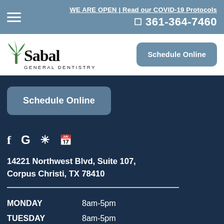WE ARE OPEN | Read our COVID-19 Protocols
361-364-7460
[Figure (logo): Sabal General Dentistry logo with palm tree]
Schedule Online
Schedule Online
Social media icons: Facebook, Google, Yelp, calendar
14221 Northwest Blvd, Suite 107, Corpus Christi, TX 78410
| Day | Hours |
| --- | --- |
| MONDAY | 8am-5pm |
| TUESDAY | 8am-5pm |
| WEDNESDAY | 8am-5pm |
| THURSDAY | 8am-5pm |